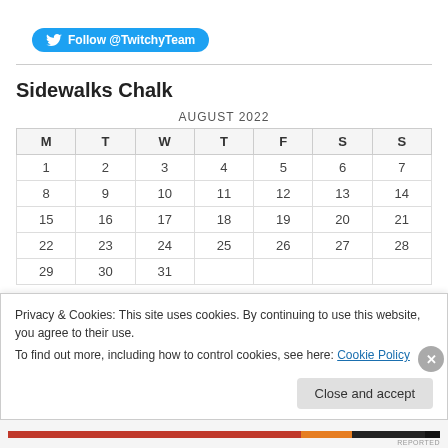[Figure (other): Twitter Follow @TwitchyTeam button]
Sidewalks Chalk
| M | T | W | T | F | S | S |
| --- | --- | --- | --- | --- | --- | --- |
| 1 | 2 | 3 | 4 | 5 | 6 | 7 |
| 8 | 9 | 10 | 11 | 12 | 13 | 14 |
| 15 | 16 | 17 | 18 | 19 | 20 | 21 |
| 22 | 23 | 24 | 25 | 26 | 27 | 28 |
| 29 | 30 | 31 |  |  |  |  |
Privacy & Cookies: This site uses cookies. By continuing to use this website, you agree to their use.
To find out more, including how to control cookies, see here: Cookie Policy